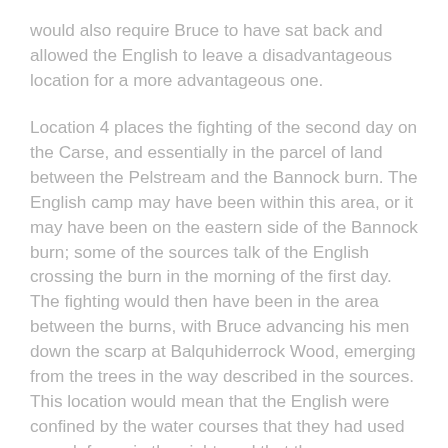would also require Bruce to have sat back and allowed the English to leave a disadvantageous location for a more advantageous one.
Location 4 places the fighting of the second day on the Carse, and essentially in the parcel of land between the Pelstream and the Bannock burn. The English camp may have been within this area, or it may have been on the eastern side of the Bannock burn; some of the sources talk of the English crossing the burn in the morning of the first day. The fighting would then have been in the area between the burns, with Bruce advancing his men down the scarp at Balquhiderrock Wood, emerging from the trees in the way described in the sources. This location would mean that the English were confined by the water courses that they had used as a defence in the night, and that there was a narrow area within which to fight; this would have negated the numerical advantage...